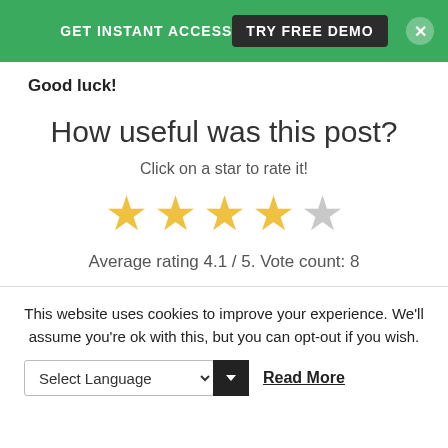GET INSTANT ACCESS   TRY FREE DEMO   ×
Good luck!
How useful was this post?
Click on a star to rate it!
[Figure (other): 4 filled yellow stars and 1 grey star rating widget]
Average rating 4.1 / 5. Vote count: 8
This website uses cookies to improve your experience. We'll assume you're ok with this, but you can opt-out if you wish.
Select Language   Read More